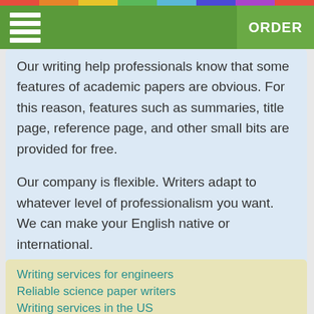ORDER
Our writing help professionals know that some features of academic papers are obvious. For this reason, features such as summaries, title page, reference page, and other small bits are provided for free.
Our company is flexible. Writers adapt to whatever level of professionalism you want. We can make your English native or international.
Students ranging from highschool to Doctoral level can have their essays and custom academic papers done here.
Writing services for engineers
Reliable science paper writers
Writing services in the US
How to write my paper with online services
How to order or write custom essays